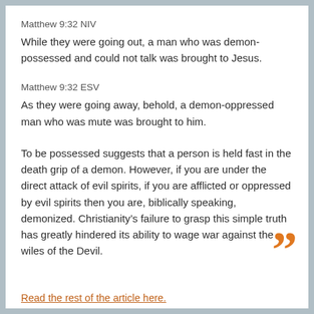Matthew 9:32 NIV
While they were going out, a man who was demon-possessed and could not talk was brought to Jesus.
Matthew 9:32 ESV
As they were going away, behold, a demon-oppressed man who was mute was brought to him.
To be possessed suggests that a person is held fast in the death grip of a demon. However, if you are under the direct attack of evil spirits, if you are afflicted or oppressed by evil spirits then you are, biblically speaking, demonized. Christianity’s failure to grasp this simple truth has greatly hindered its ability to wage war against the wiles of the Devil.
Read the rest of the article here.